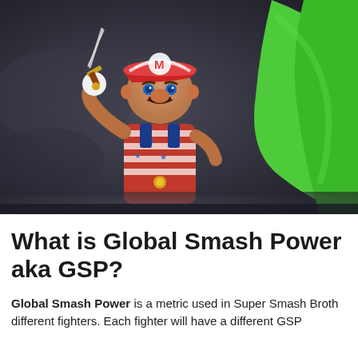[Figure (photo): Screenshot from Super Smash Bros Ultimate showing Mario character wearing a stars-and-stripes patriotic costume (Smash Bros Fighter costume) holding a small sword/dagger, with a blue scarf and red-and-white striped cap with M logo. A large green character (Yoshi or similar) is partially visible on the right side. Dark moody background.]
What is Global Smash Power aka GSP?
Global Smash Power is a metric used in Super Smash Broth different fighters. Each fighter will have a different GSP...